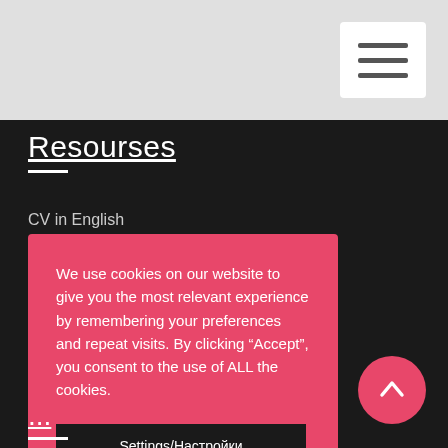[Figure (screenshot): Navigation hamburger menu button — three horizontal lines in a white rounded rectangle on a light gray background]
Resourses
CV in English
CV in Spanish
CV in Romanian
CV in Greek
We use cookies on our website to give you the most relevant experience by remembering your preferences and repeat visits. By clicking “Accept”, you consent to the use of ALL the cookies.
Settings/Настройки
Accept/Приемам
...